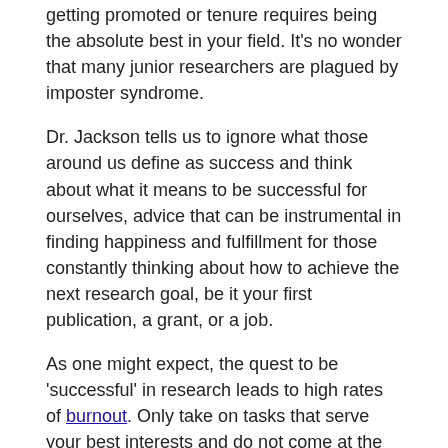getting promoted or tenure requires being the absolute best in your field. It’s no wonder that many junior researchers are plagued by imposter syndrome.
Dr. Jackson tells us to ignore what those around us define as success and think about what it means to be successful for ourselves, advice that can be instrumental in finding happiness and fulfillment for those constantly thinking about how to achieve the next research goal, be it your first publication, a grant, or a job.
As one might expect, the quest to be ‘successful’ in research leads to high rates of burnout. Only take on tasks that serve your best interests and do not come at the expense of personal happiness and well-being.
Be creative
Just as we should define success for ourselves, we should define our own trajectories. The super stars whose work you admire came up in a different era, with different questions, different funding environments, and different strategies. The paths to